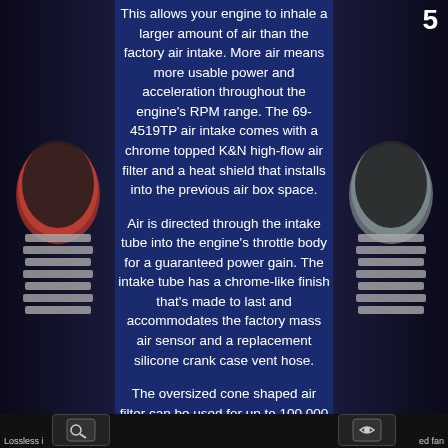This allows your engine to inhale a larger amount of air than the factory air intake. More air means more usable power and acceleration throughout the engine's RPM range. The 69-4519TP air intake comes with a chrome topped K&N high-flow air filter and a heat shield that installs into the previous air box space.
Air is directed through the intake tube into the engine's throttle body for a guaranteed power gain. The intake tube has a chrome-like finish that's made to last and accommodates the factory mass air sensor and a replacement silicone crank case vent hose.
The oversized cone shaped air filter can be used for up to 100,000 miles before servicing is needed depending on driving conditions. This air intake is relatively easy to install usually in 90 minutes or less using existing factory mounting points.
Lossless i                                                                                         ed fan